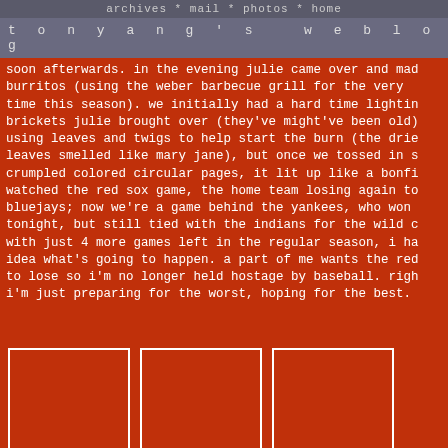archives * mail * photos * home
t o n y a n g ' s   w e b l o g
soon afterwards. in the evening julie came over and made burritos (using the weber barbecue grill for the very first time this season). we initially had a hard time lighting the brickets julie brought over (they've might've been old), using leaves and twigs to help start the burn (the dried leaves smelled like mary jane), but once we tossed in some crumpled colored circular pages, it lit up like a bonfire. watched the red sox game, the home team losing again to the bluejays; now we're a game behind the yankees, who won tonight, but still tied with the indians for the wild card with just 4 more games left in the regular season, i have no idea what's going to happen. a part of me wants the red sox to lose so i'm no longer held hostage by baseball. right now i'm just preparing for the worst, hoping for the best.
[Figure (photo): Three photo placeholders shown as white-outlined rectangles on red background]
posted on Wed September 28th, 2005 6:40PM | comments (0)